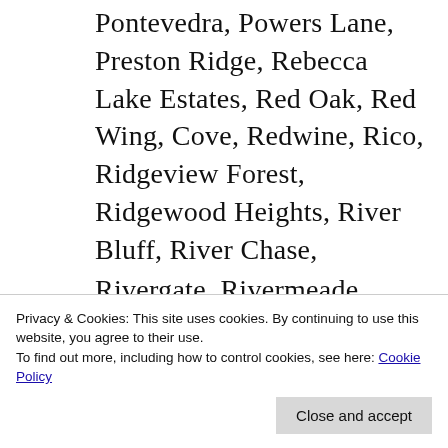Pontevedra, Powers Lane, Preston Ridge, Rebecca Lake Estates, Red Oak, Red Wing, Cove, Redwine, Rico, Ridgeview Forest, Ridgewood Heights, River Bluff, River Chase, Rivergate, Rivermeade, Riverside, Riversong, Rivertown, Rosedale Heights, Rosegate Manor, Roseland, Roswell Oaks, Saint
Privacy & Cookies: This site uses cookies. By continuing to use this website, you agree to their use. To find out more, including how to control cookies, see here: Cookie Policy